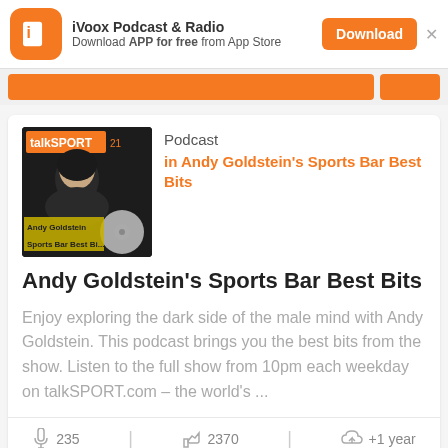iVoox Podcast & Radio — Download APP for free from App Store
Podcast in Andy Goldstein's Sports Bar Best Bits
Andy Goldstein's Sports Bar Best Bits
Enjoy exploring the dark side of the male mind with Andy Goldstein. This podcast brings you the best bits from the show. Listen to the full show from 10pm each weekday on talkSPORT.com – the world's ...
235   2370   +1 year